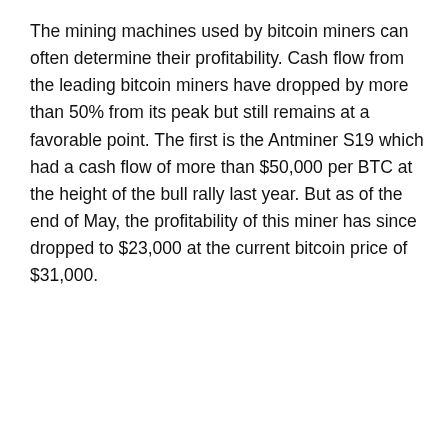The mining machines used by bitcoin miners can often determine their profitability. Cash flow from the leading bitcoin miners have dropped by more than 50% from its peak but still remains at a favorable point. The first is the Antminer S19 which had a cash flow of more than $50,000 per BTC at the height of the bull rally last year. But as of the end of May, the profitability of this miner has since dropped to $23,000 at the current bitcoin price of $31,000.